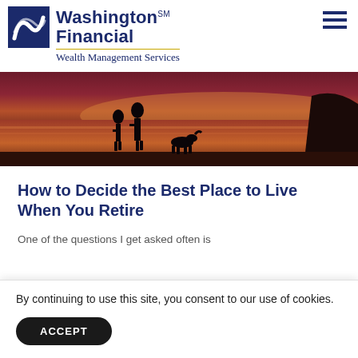Washington Financial℠ Wealth Management Services
[Figure (photo): Two silhouetted figures and a dog walking on a beach at sunset with dramatic red-purple sky and ocean in background]
How to Decide the Best Place to Live When You Retire
One of the questions I get asked often is
By continuing to use this site, you consent to our use of cookies.
ACCEPT